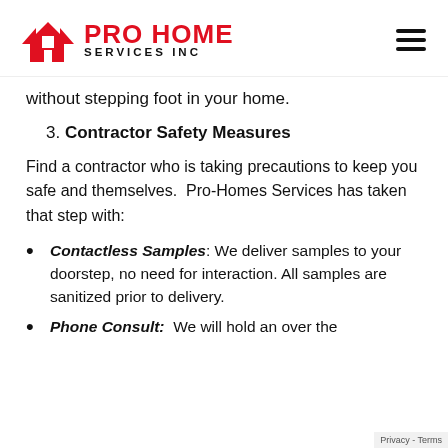[Figure (logo): Pro Home Services Inc logo with red house/arrow icon and red PRO HOME text with black SERVICES INC text below, plus hamburger menu icon]
without stepping foot in your home.
3. Contractor Safety Measures
Find a contractor who is taking precautions to keep you safe and themselves.  Pro-Homes Services has taken that step with:
Contactless Samples: We deliver samples to your doorstep, no need for interaction. All samples are sanitized prior to delivery.
Phone Consult:  We will hold an over the